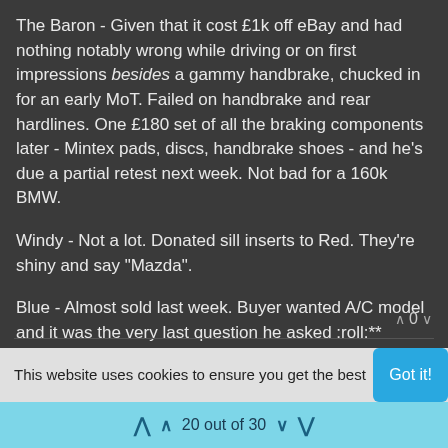The Baron - Given that it cost £1k off eBay and had nothing notably wrong while driving or on first impressions besides a gammy handbrake, chucked in for an early MoT. Failed on handbrake and rear hardlines. One £180 set of all the braking components later - Mintex pads, discs, handbrake shoes - and he's due a partial retest next week. Not bad for a 160k BMW.
Windy - Not a lot. Donated sill inserts to Red. They're shiny and say "Mazda".
Blue - Almost sold last week. Buyer wanted A/C model and it was the very last question he asked :roll:**
∧ 0 ∨
Log in to reply
Copyright 2021 UK-MX3.com | Powered by NodeBB
This website uses cookies to ensure you get the best
Got it!
20 out of 30